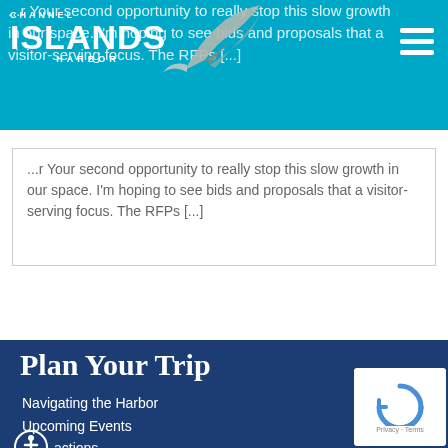Channel Islands Harbor
... Your second opportunity to really stop this slow growth in our space. I'm hoping to see bids and proposals that a visitor-serving focus. The RFPs [...]
Plan Your Trip
Navigating the Harbor
Upcoming Events
actions
Beaches & Parks